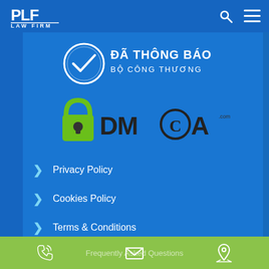[Figure (logo): PLF Law Firm logo in white on blue header bar, with search icon and hamburger menu icon on the right]
[Figure (logo): Circular badge with checkmark reading 'Da Thong Bao Bo Cong Thuong' (Vietnamese ministry notification badge)]
[Figure (logo): DMCA.com protection badge with green padlock icon]
Privacy Policy
Cookies Policy
Terms & Conditions
Ethics Policy
Disclaimer
[Figure (illustration): Green footer bar with phone icon, email/envelope icon, and map pin/location icon, with text 'Frequently Asked Questions']